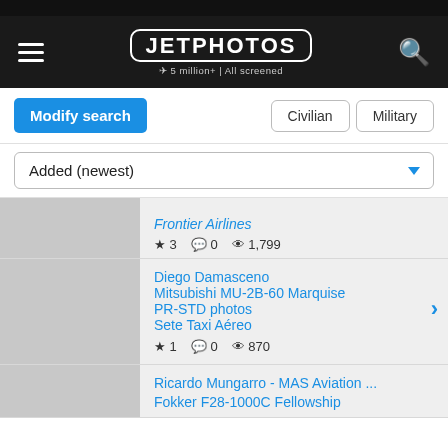[Figure (screenshot): JetPhotos website header navigation bar with hamburger menu, JETPHOTOS logo (5 million+ | All screened), and search icon on dark background]
Modify search
Civilian | Military
Added (newest)
Frontier Airlines
★ 3  💬 0  👁 1,799
Diego Damasceno
Mitsubishi MU-2B-60 Marquise
PR-STD photos
Sete Taxi Aéreo
★ 1  💬 0  👁 870
Ricardo Mungarro - MAS Aviation ...
Fokker F28-1000C Fellowship